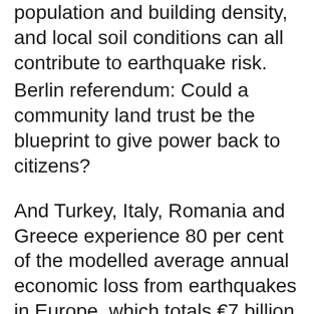Factors such as the age of buildings, population and building density, and local soil conditions can all contribute to earthquake risk.
Berlin referendum: Could a community land trust be the blueprint to give power back to citizens?
And Turkey, Italy, Romania and Greece experience 80 per cent of the modelled average annual economic loss from earthquakes in Europe, which totals €7 billion. Cities including Zagreb (Croatia), Tirana (Albania), Sofia (Bulgaria), Lisbon (Portugal), Brussels (Belgium), and Basel (Switzerland) also have an above-average level of